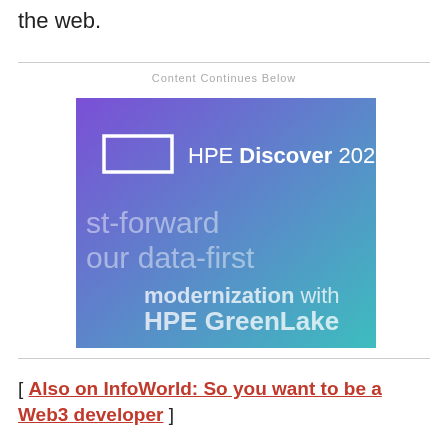the web.
Content Continues Below
[Figure (advertisement): HPE Discover 2022 advertisement banner with purple-to-teal gradient background. Shows HPE logo rectangle outline, text 'HPE Discover 2022', and partially visible text 'st-forward', 'our data-first', 'modernization with HPE GreenLake'.]
[ Also on InfoWorld: So you want to be a Web3 developer ]